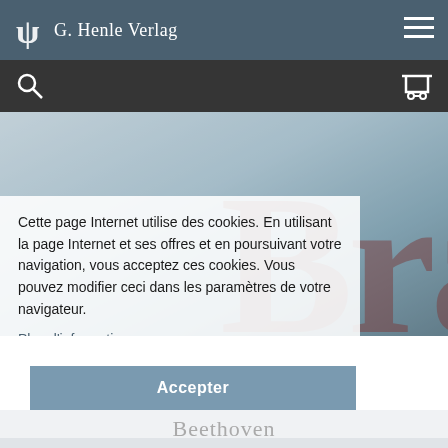G. Henle Verlag
[Figure (screenshot): Hero background showing a book cover with large partial text 'Bra' in dark red/maroon serif font on a light blue-grey textured surface]
Cette page Internet utilise des cookies. En utilisant la page Internet et ses offres et en poursuivant votre navigation, vous acceptez ces cookies. Vous pouvez modifier ceci dans les paramètres de votre navigateur.
Plus d'informations
Accepter
Beethoven